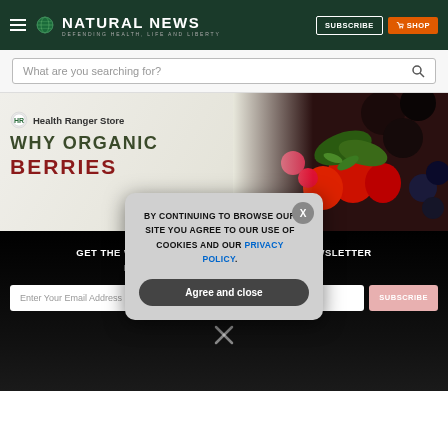NATURAL NEWS — DEFENDING HEALTH, LIFE AND LIBERTY
[Figure (screenshot): Search bar with placeholder text 'What are you searching for?' and magnifying glass icon]
[Figure (infographic): Health Ranger Store advertisement banner showing 'WHY ORGANIC BERRIES' with berries photo on right side]
GET THE WORLD'S BEST NATURAL HEALTH NEWSLETTER DELIVERED STRAIGHT TO YOUR INBOX
[Figure (screenshot): Cookie consent popup: 'BY CONTINUING TO BROWSE OUR SITE YOU AGREE TO OUR USE OF COOKIES AND OUR PRIVACY POLICY.' with Agree and close button and X close button]